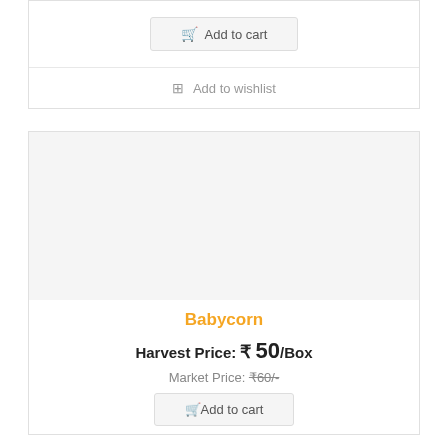Add to cart
Add to wishlist
[Figure (other): Product image placeholder (light gray background, no image loaded)]
Babycorn
Harvest Price: ₹ 50/Box
Market Price: ₹60/-
Add to cart